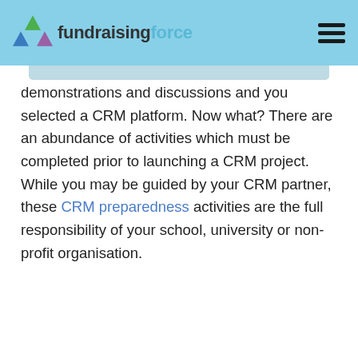fundraisingforce
demonstrations and discussions and you selected a CRM platform. Now what? There are an abundance of activities which must be completed prior to launching a CRM project. While you may be guided by your CRM partner, these CRM preparedness activities are the full responsibility of your school, university or non-profit organisation.